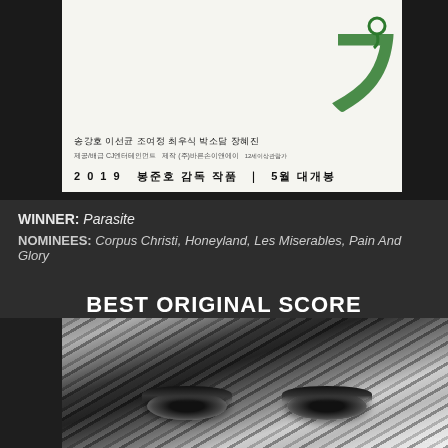[Figure (photo): Movie poster for Parasite (Gisaengchung) showing Korean cast credits and release info: '2019 봉준호 감독 작품 | 5월 대개봉' with green decorative logo]
WINNER: Parasite
NOMINEES: Corpus Christi, Honeyland, Les Miserables, Pain And Glory
BEST ORIGINAL SCORE
[Figure (photo): Black and white close-up photo of a woman's eyes and forehead with dark hair partially covering face]